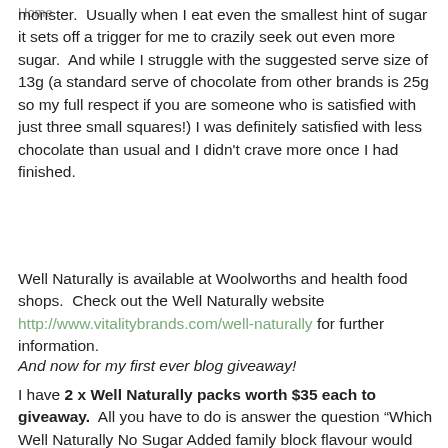Home
monster.  Usually when I eat even the smallest hint of sugar it sets off a trigger for me to crazily seek out even more sugar.  And while I struggle with the suggested serve size of 13g (a standard serve of chocolate from other brands is 25g so my full respect if you are someone who is satisfied with just three small squares!) I was definitely satisfied with less chocolate than usual and I didn't crave more once I had finished.
Well Naturally is available at Woolworths and health food shops.  Check out the Well Naturally website http://www.vitalitybrands.com/well-naturally for further information.
And now for my first ever blog giveaway!
I have 2 x Well Naturally packs worth $35 each to giveaway.  All you have to do is answer the question “Which Well Naturally No Sugar Added family block flavour would you pick and why?” in the comments below.